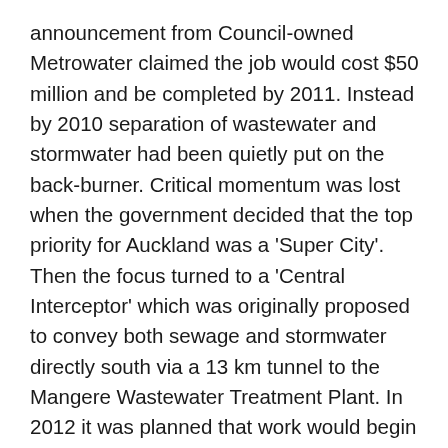announcement from Council-owned Metrowater claimed the job would cost $50 million and be completed by 2011. Instead by 2010 separation of wastewater and stormwater had been quietly put on the back-burner. Critical momentum was lost when the government decided that the top priority for Auckland was a 'Super City'. Then the focus turned to a 'Central Interceptor' which was originally proposed to convey both sewage and stormwater directly south via a 13 km tunnel to the Mangere Wastewater Treatment Plant. In 2012 it was planned that work would begin this year and take 10 years to complete. Now the start date has been put back once again to 2019. The Central Interceptor is estimated to cost about one billion dollars and that's just the start. Ironically the cost of Super City amalgamation, notably the $1.2 billion that the Council paid for a new (still not